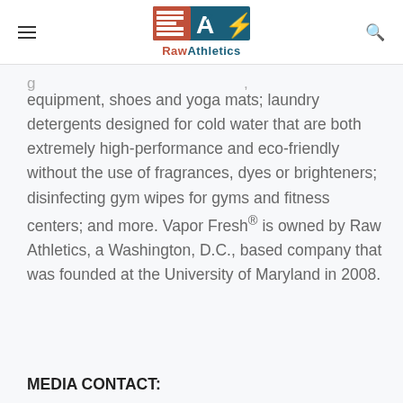Raw Athletics
equipment, shoes and yoga mats; laundry detergents designed for cold water that are both extremely high-performance and eco-friendly without the use of fragrances, dyes or brighteners; disinfecting gym wipes for gyms and fitness centers; and more. Vapor Fresh® is owned by Raw Athletics, a Washington, D.C., based company that was founded at the University of Maryland in 2008.
MEDIA CONTACT: